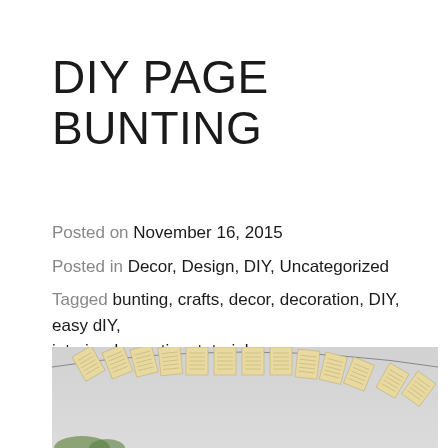DIY PAGE BUNTING
Posted on November 16, 2015
Posted in Decor, Design, DIY, Uncategorized
Tagged bunting, crafts, decor, decoration, DIY, easy dIY, interior decorating, tutorial
Leave a comment
[Figure (photo): Photo of a DIY page bunting made from old book pages hung in a garland arc against a light gray wall]